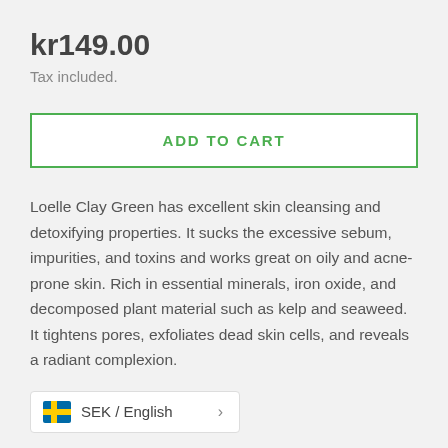kr149.00
Tax included.
ADD TO CART
Loelle Clay Green has excellent skin cleansing and detoxifying properties. It sucks the excessive sebum, impurities, and toxins and works great on oily and acne-prone skin. Rich in essential minerals, iron oxide, and decomposed plant material such as kelp and seaweed. It tightens pores, exfoliates dead skin cells, and reveals a radiant complexion.
SEK / English